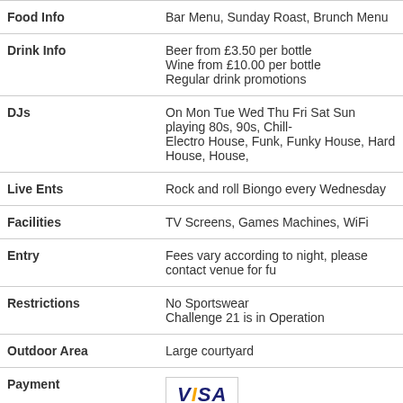| Field | Value |
| --- | --- |
| Food Info | Bar Menu, Sunday Roast, Brunch Menu |
| Drink Info | Beer from £3.50 per bottle
Wine from £10.00 per bottle
Regular drink promotions |
| DJs | On Mon Tue Wed Thu Fri Sat Sun playing 80s, 90s, Chill-
Electro House, Funk, Funky House, Hard House, House, |
| Live Ents | Rock and roll Biongo every Wednesday |
| Facilities | TV Screens, Games Machines, WiFi |
| Entry | Fees vary according to night, please contact venue for fu |
| Restrictions | No Sportswear
Challenge 21 is in Operation |
| Outdoor Area | Large courtyard |
| Payment | VISA |
| Disabled Facilities | Wheelchair Access, Disabled Toilets |
Queens Court User reviews
Add your own review for Queens Court